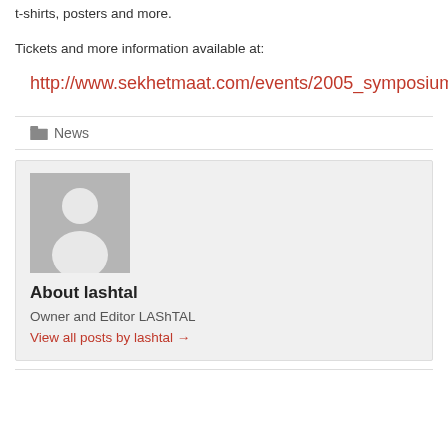t-shirts, posters and more.
Tickets and more information available at:
http://www.sekhetmaat.com/events/2005_symposium
News
[Figure (photo): Generic user avatar placeholder — grey background with white silhouette of a person]
About lashtal
Owner and Editor LAShTAL
View all posts by lashtal →